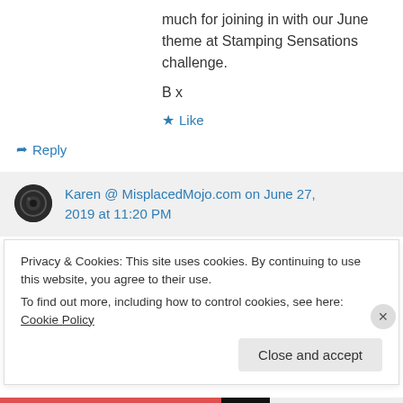much for joining in with our June theme at Stamping Sensations challenge.
B x
Like
Reply
Karen @ MisplacedMojo.com on June 27, 2019 at 11:20 PM
Privacy & Cookies: This site uses cookies. By continuing to use this website, you agree to their use.
To find out more, including how to control cookies, see here: Cookie Policy
Close and accept